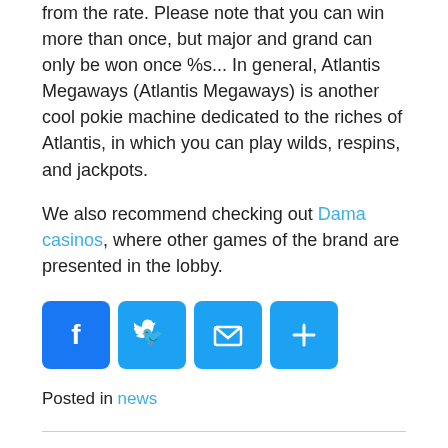from the rate. Please note that you can win more than once, but major and grand can only be won once %s... In general, Atlantis Megaways (Atlantis Megaways) is another cool pokie machine dedicated to the riches of Atlantis, in which you can play wilds, respins, and jackpots.
We also recommend checking out Dama casinos, where other games of the brand are presented in the lobby.
[Figure (infographic): Four social share buttons: Facebook (blue), Twitter (light blue), Email (light blue), Share/Plus (light blue)]
Posted in news
Bots in online poker
Posted on 24 декабря, 2021 by Jimmie Stagg